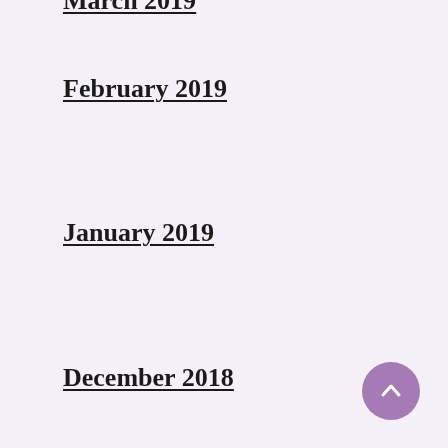March 2019
February 2019
January 2019
December 2018
November 2018
October 2018
September 2018
May 2018